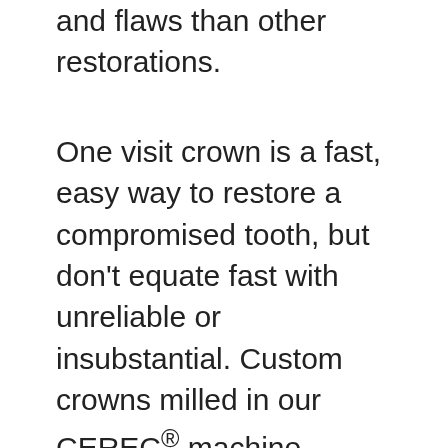and flaws than other restorations.
One visit crown is a fast, easy way to restore a compromised tooth, but don't equate fast with unreliable or insubstantial. Custom crowns milled in our CEREC® machine deliver outstanding longevity to protect your tooth well into the future. The science is proven, and the results are dependable. At Arizona Center for Laser Dentistry we provide the best dental care possible.
Empower your smile with One Visit Crowns. Call Arizona Center for Laser Dentistry located